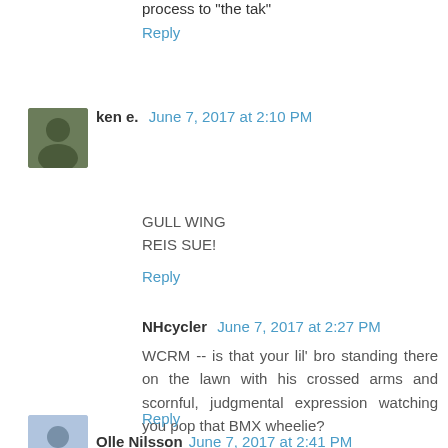process to "the tak"
Reply
ken e.  June 7, 2017 at 2:10 PM
GULL WING
REIS SUE!
Reply
NHcycler  June 7, 2017 at 2:27 PM
WCRM -- is that your lil' bro standing there on the lawn with his crossed arms and scornful, judgmental expression watching you pop that BMX wheelie?
Reply
Olle Nilsson  June 7, 2017 at 2:41 PM